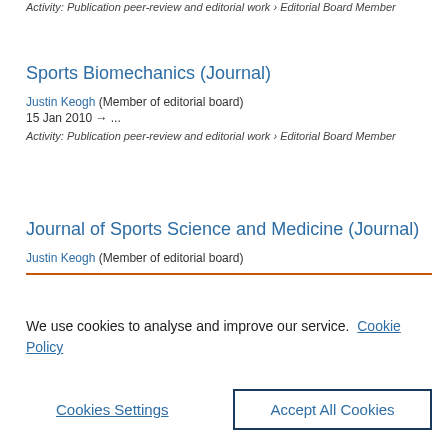Activity: Publication peer-review and editorial work › Editorial Board Member
Sports Biomechanics (Journal)
Justin Keogh (Member of editorial board)
15 Jan 2010 → ...
Activity: Publication peer-review and editorial work › Editorial Board Member
Journal of Sports Science and Medicine (Journal)
Justin Keogh (Member of editorial board)
We use cookies to analyse and improve our service. Cookie Policy
Cookies Settings
Accept All Cookies